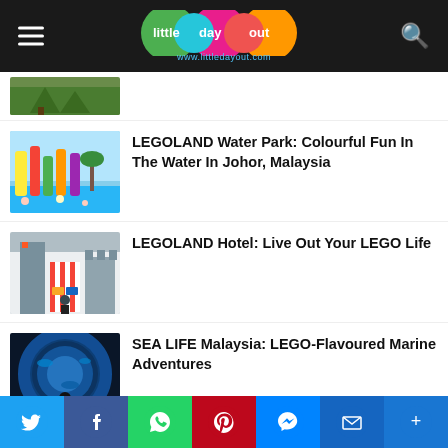little day out — www.littledayout.com
[Figure (photo): Partially visible thumbnail of outdoor/nature scene (cropped at top)]
[Figure (photo): LEGOLAND Water Park with colourful slides and water attractions]
LEGOLAND Water Park: Colourful Fun In The Water In Johor, Malaysia
[Figure (photo): LEGOLAND Hotel interior with LEGO-themed decorations]
LEGOLAND Hotel: Live Out Your LEGO Life
[Figure (photo): SEA LIFE Malaysia — underwater tunnel with blue marine environment and child silhouette]
SEA LIFE Malaysia: LEGO-Flavoured Marine Adventures
[Figure (photo): X-Scap8 attraction thumbnail, partially obscured by social share bar]
X-Scap8: High-Elements Course, Laser Battle, Mirror Challenge At Orchard Central
[Figure (infographic): Social sharing bar with Twitter, Facebook, WhatsApp, Pinterest, Messenger, Email, and More icons]